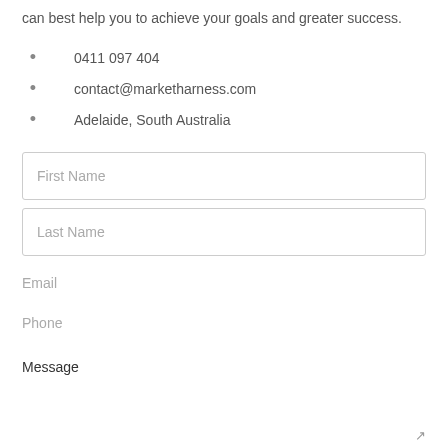can best help you to achieve your goals and greater success.
0411 097 404
contact@marketharness.com
Adelaide, South Australia
First Name
Last Name
Email
Phone
Message